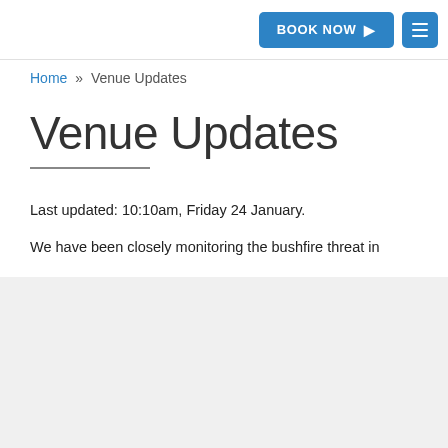BOOK NOW
Home » Venue Updates
Venue Updates
Last updated: 10:10am, Friday 24 January.
We have been closely monitoring the bushfire threat in